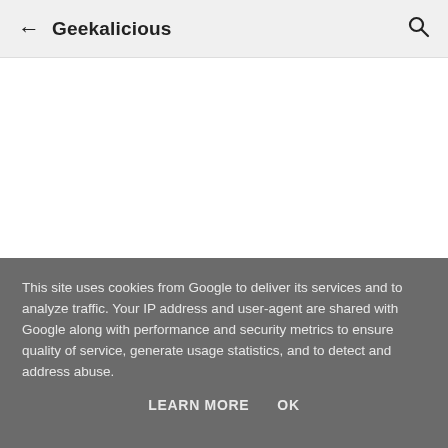← Geekalicious 🔍
This site uses cookies from Google to deliver its services and to analyze traffic. Your IP address and user-agent are shared with Google along with performance and security metrics to ensure quality of service, generate usage statistics, and to detect and address abuse.
LEARN MORE   OK